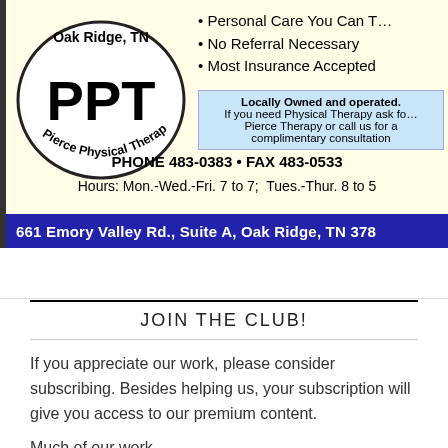[Figure (logo): Pierce Physical Therapy oval logo with 'Oak Ridge, TN' at top, 'PPT' in large bold letters in center, and 'Pierce Physical Therapy' curved at bottom]
Personal Care You Can T…
No Referral Necessary
Most Insurance Accepted
Locally Owned and operated. If you need Physical Therapy ask for Pierce Therapy or call us for a complimentary consultation
PHONE 483-0383 • FAX 483-0533
Hours: Mon.-Wed.-Fri. 7 to 7;  Tues.-Thur. 8 to 5
661 Emory Valley Rd., Suite A, Oak Ridge, TN 378…
JOIN THE CLUB!
If you appreciate our work, please consider subscribing. Besides helping us, your subscription will give you access to our premium content.
Much of our work…